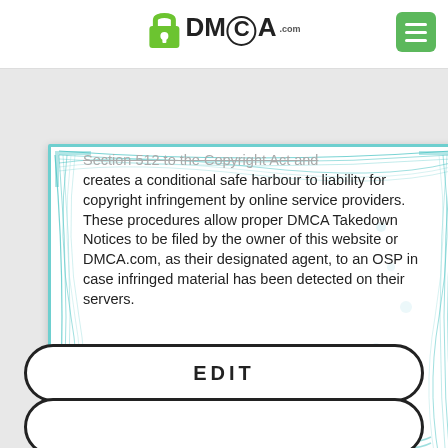DMCA.com
[Figure (screenshot): DMCA.com certificate showing legal text about Section 512 of the Copyright Act, conditional safe harbour for online service providers, and DMCA Takedown Notices procedures. The certificate has a blue guilloché decorative border and a hash/verification string at the bottom.]
Section 512 to the Copyright Act and creates a conditional safe harbour to liability for copyright infringement by online service providers. These procedures allow proper DMCA Takedown Notices to be filed by the owner of this website or DMCA.com, as their designated agent, to an OSP in case infringed material has been detected on their servers.
EDIT